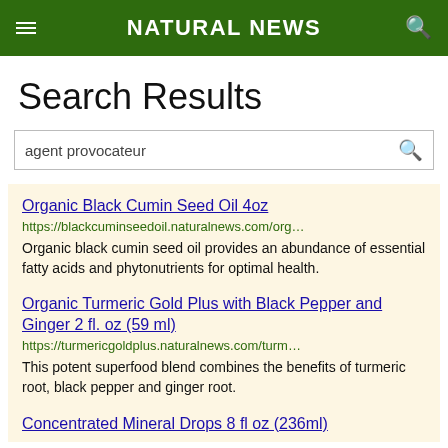NATURAL NEWS
Search Results
agent provocateur
Organic Black Cumin Seed Oil 4oz
https://blackcuminseedoil.naturalnews.com/org…
Organic black cumin seed oil provides an abundance of essential fatty acids and phytonutrients for optimal health.
Organic Turmeric Gold Plus with Black Pepper and Ginger 2 fl. oz (59 ml)
https://turmericgoldplus.naturalnews.com/turm…
This potent superfood blend combines the benefits of turmeric root, black pepper and ginger root.
Concentrated Mineral Drops 8 fl oz (236ml)